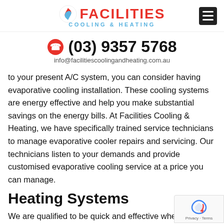[Figure (logo): Facilities Cooling & Heating logo with swirl icon in red and blue, company name in red bold caps, tagline 'COOLING & HEATING' in blue spaced caps]
(03) 9357 5768
info@facilitiescoolingandheating.com.au
to your present A/C system, you can consider having evaporative cooling installation. These cooling systems are energy effective and help you make substantial savings on the energy bills. At Facilities Cooling & Heating, we have specifically trained service technicians to manage evaporative cooler repairs and servicing. Our technicians listen to your demands and provide customised evaporative cooling service at a price you can manage.
Heating Systems
We are qualified to be quick and effective when it